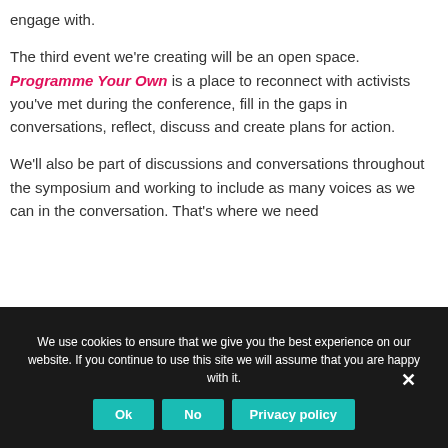engage with.

The third event we're creating will be an open space. Programme Your Own is a place to reconnect with activists you've met during the conference, fill in the gaps in conversations, reflect, discuss and create plans for action.

We'll also be part of discussions and conversations throughout the symposium and working to include as many voices as we can in the conversation. That's where we need
We use cookies to ensure that we give you the best experience on our website. If you continue to use this site we will assume that you are happy with it. [Ok] [No] [Privacy policy]